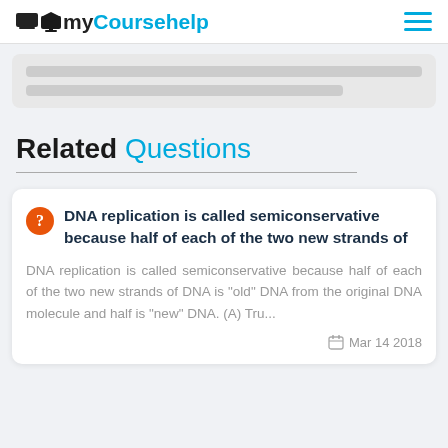myCoursehelp
[blurred/redacted text block]
Related Questions
DNA replication is called semiconservative because half of each of the two new strands of
DNA replication is called semiconservative because half of each of the two new strands of DNA is "old" DNA from the original DNA molecule and half is "new" DNA. (A) Tru...
Mar 14 2018